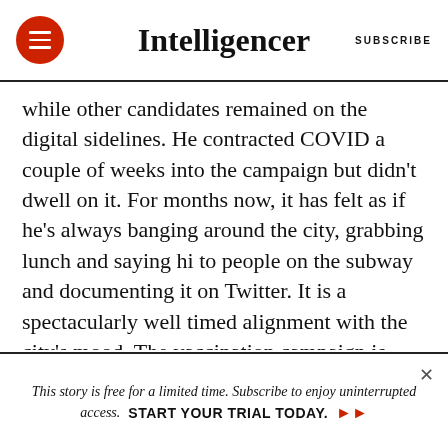Intelligencer
while other candidates remained on the digital sidelines. He contracted COVID a couple of weeks into the campaign but didn't dwell on it. For months now, it has felt as if he's always banging around the city, grabbing lunch and saying hi to people on the subway and documenting it on Twitter. It is a spectacularly well timed alignment with the city's mood. The vaccination campaign is well under way, and de Blasio and Cuomo have said that in a matter of weeks, New York will be once again open for business. The June 22 primary date feels like
This story is free for a limited time. Subscribe to enjoy uninterrupted access. START YOUR TRIAL TODAY.